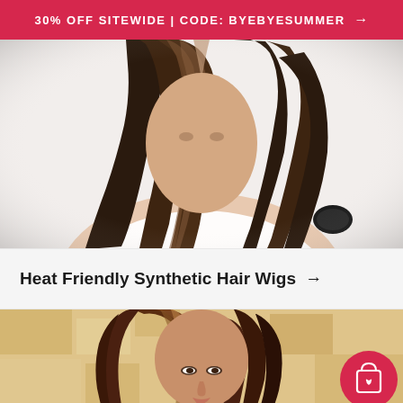30% OFF SITEWIDE | CODE: BYEBYESUMMER →
[Figure (photo): Top portion of a woman with straight brown highlighted hair, wearing a white top, photographed from above/behind showing hair and shoulder area against white background.]
Heat Friendly Synthetic Hair Wigs →
[Figure (photo): Woman with medium-length brown highlighted hair wearing a wig, facing forward, with warm beige/tan textured background. A crimson circular shopping cart icon with a heart is overlaid in the bottom right.]